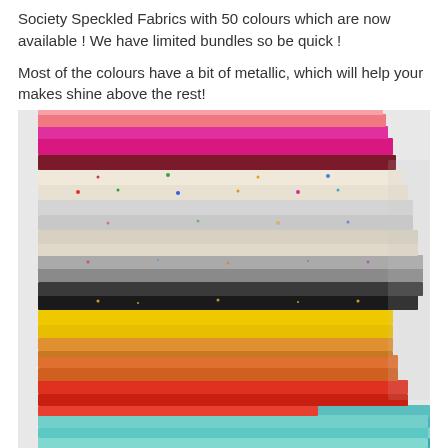Society Speckled Fabrics with 50 colours which are now available ! We have limited bundles so be quick !
Most of the colours have a bit of metallic, which will help your makes shine above the rest!
[Figure (photo): A large stack of folded speckled fabrics in many colours including pink, magenta, red, cream, grey, black, yellow, orange, red, and teal/turquoise, arranged in a tall pile against a light grey background.]